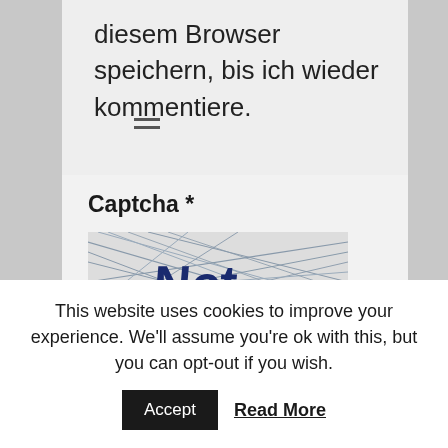diesem Browser speichern, bis ich wieder kommentiere.
Captcha *
[Figure (other): CAPTCHA image showing distorted text 'Nct' with diagonal lines crossing through it]
Geben Sie den obigen Text ein:
KOMMENTAR ABSCHICKEN
This website uses cookies to improve your experience. We'll assume you're ok with this, but you can opt-out if you wish.
Accept
Read More